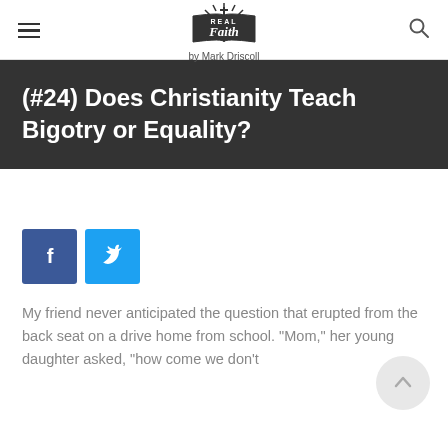Real Faith by Mark Driscoll
(#24) Does Christianity Teach Bigotry or Equality?
[Figure (logo): Facebook share button (dark blue with white f icon)]
[Figure (logo): Twitter share button (light blue with white bird icon)]
My friend never anticipated the question that erupted from the back seat on a drive home from school. “Mom,” her young daughter asked, “how come we don’t